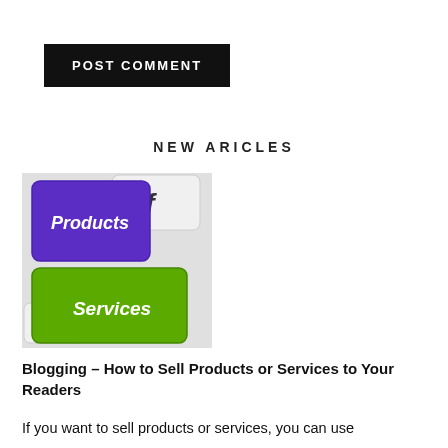POST COMMENT
NEW ARICLES
[Figure (photo): Keyboard keys showing purple 'Products' key and green 'Services' key]
Blogging – How to Sell Products or Services to Your Readers
If you want to sell products or services, you can use